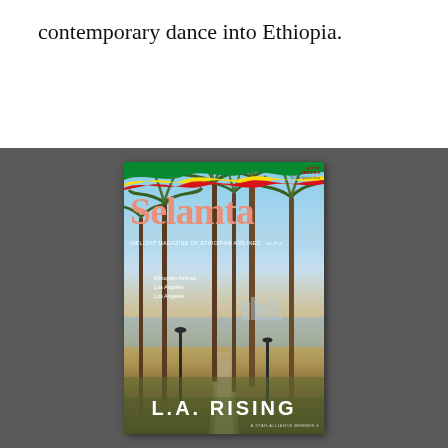contemporary dance into Ethiopia.
[Figure (photo): Cover of Selamta magazine featuring palm trees in Los Angeles park (Echo Park or MacArthur Park), with the title 'Selamta' in large salmon/coral text, Ethiopian Airlines logo at top right with wavy ribbon, and 'L.A. RISING' text at the bottom. Small text reads 'Ethiopian Airlines / Los Angeles'.]